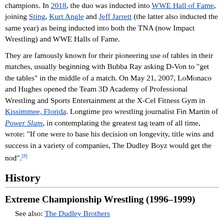champions. In 2018, the duo was inducted into WWE Hall of Fame, joining Sting, Kurt Angle and Jeff Jarrett (the latter also inducted the same year) as being inducted into both the TNA (now Impact Wrestling) and WWE Halls of Fame.
They are famously known for their pioneering use of tables in their matches, usually beginning with Bubba Ray asking D-Von to "get the tables" in the middle of a match. On May 21, 2007, LoMonaco and Hughes opened the Team 3D Academy of Professional Wrestling and Sports Entertainment at the X-Cel Fitness Gym in Kissimmee, Florida. Longtime pro wrestling journalist Fin Martin of Power Slam, in contemplating the greatest tag team of all time, wrote: "If one were to base his decision on longevity, title wins and success in a variety of companies, The Dudley Boyz would get the nod".[8]
History
Extreme Championship Wrestling (1996–1999)
See also: The Dudley Brothers
The teaming of LoMonaco and Hughes was born from ECW's Dudley family, a team of comedic fan favorites that consisted of